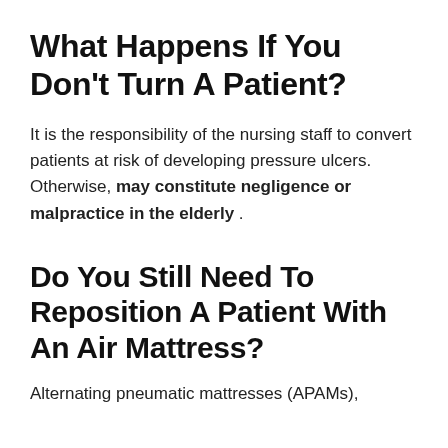What Happens If You Don’T Turn A Patient?
It is the responsibility of the nursing staff to convert patients at risk of developing pressure ulcers. Otherwise, may constitute negligence or malpractice in the elderly .
Do You Still Need To Reposition A Patient With An Air Mattress?
Alternating pneumatic mattresses (APAMs),